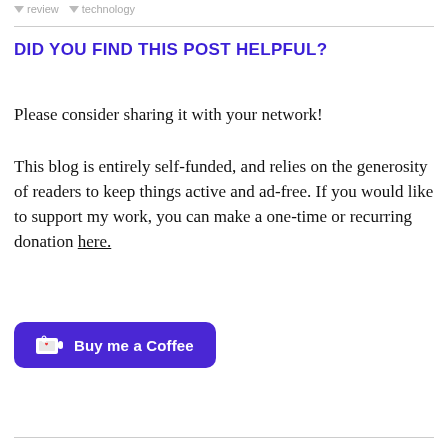review  technology
DID YOU FIND THIS POST HELPFUL?
Please consider sharing it with your network!
This blog is entirely self-funded, and relies on the generosity of readers to keep things active and ad-free. If you would like to support my work, you can make a one-time or recurring donation here.
[Figure (other): Buy me a Coffee button — purple rounded rectangle with coffee cup icon and text 'Buy me a Coffee']